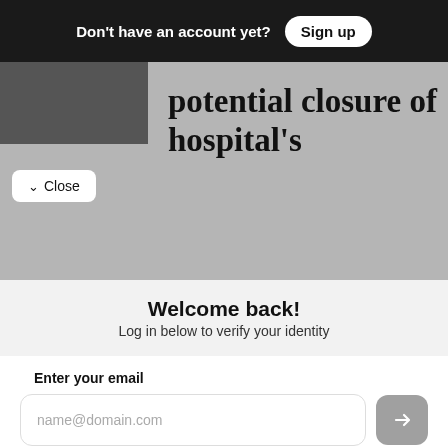Don't have an account yet? Sign up
[Figure (screenshot): Partially visible dark image/logo in top-left of article background]
potential closure of hospital's
Close
Welcome back!
Log in below to verify your identity
Enter your email
name@domain.com
OR LOG IN WITH
Facebook
Google